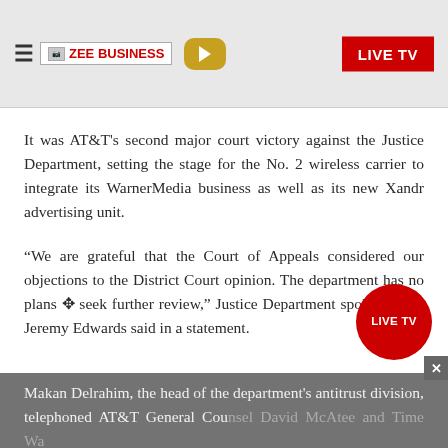ZEE BUSINESS | LIVE TV
It was AT&T’s second major court victory against the Justice Department, setting the stage for the No. 2 wireless carrier to integrate its WarnerMedia business as well as its new Xandr advertising unit.
“We are grateful that the Court of Appeals considered our objections to the District Court opinion. The department has no plans to seek further review,” Justice Department spokesperson Jeremy Edwards said in a statement.
Makan Delrahim, the head of the department’s antitrust division, telephoned AT&T General Counsel David McAtee and Time Warner...